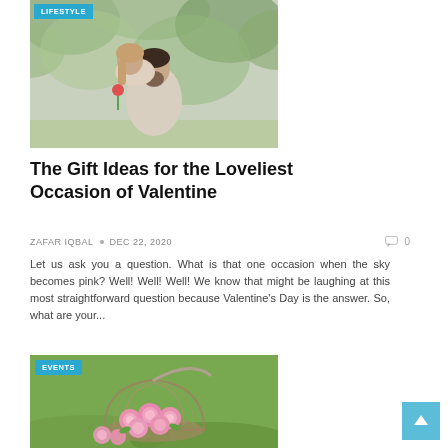[Figure (photo): Couple photo with LIFESTYLE badge — man carrying woman on his back outdoors, bokeh background]
The Gift Ideas for the Loveliest Occasion of Valentine
ZAFAR IQBAL  •  Dec 22, 2020    💬 0
Let us ask you a question. What is that one occasion when the sky becomes pink? Well! Well! Well! We know that might be laughing at this most straightforward question because Valentine's Day is the answer. So, what are your...
[Figure (photo): Basket of pink roses on grass with EVENTS badge]